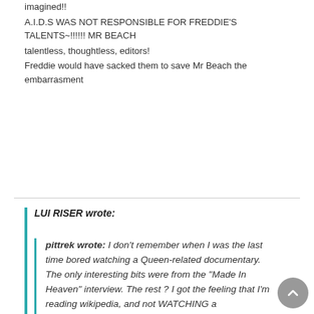imagined!!
A.I.D.S WAS NOT RESPONSIBLE FOR FREDDIE'S TALENTS~!!!!!! MR BEACH
talentless, thoughtless, editors!
Freddie would have sacked them to save Mr Beach the embarrasment
LUI RISER wrote:
pittrek wrote: I don't remember when I was the last time bored watching a Queen-related documentary. The only interesting bits were from the "Made In Heaven" interview. The rest ? I got the feeling that I'm reading wikipedia, and not WATCHING a documentary. The strangest thing is that despite its name it's not a documentary about "The Great Pretender" nor about Freddie Mercury. It's a "making of Mr